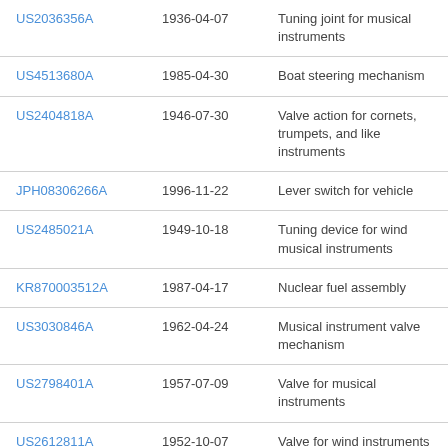| US2036356A | 1936-04-07 | Tuning joint for musical instruments |
| US4513680A | 1985-04-30 | Boat steering mechanism |
| US2404818A | 1946-07-30 | Valve action for cornets, trumpets, and like instruments |
| JPH08306266A | 1996-11-22 | Lever switch for vehicle |
| US2485021A | 1949-10-18 | Tuning device for wind musical instruments |
| KR870003512A | 1987-04-17 | Nuclear fuel assembly |
| US3030846A | 1962-04-24 | Musical instrument valve mechanism |
| US2798401A | 1957-07-09 | Valve for musical instruments |
| US2612811A | 1952-10-07 | Valve for wind instruments |
| US2794358A | 1957-06-04 | Valve for musical instruments |